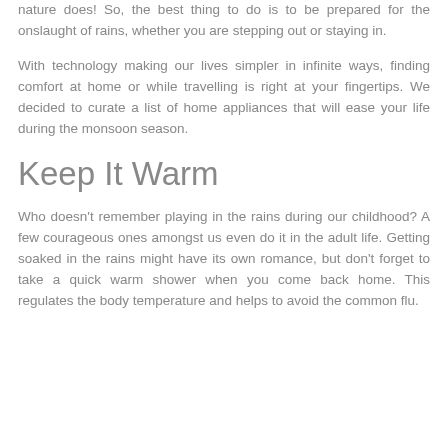nature does! So, the best thing to do is to be prepared for the onslaught of rains, whether you are stepping out or staying in.
With technology making our lives simpler in infinite ways, finding comfort at home or while travelling is right at your fingertips. We decided to curate a list of home appliances that will ease your life during the monsoon season.
Keep It Warm
Who doesn't remember playing in the rains during our childhood? A few courageous ones amongst us even do it in the adult life. Getting soaked in the rains might have its own romance, but don't forget to take a quick warm shower when you come back home. This regulates the body temperature and helps to avoid the common flu.